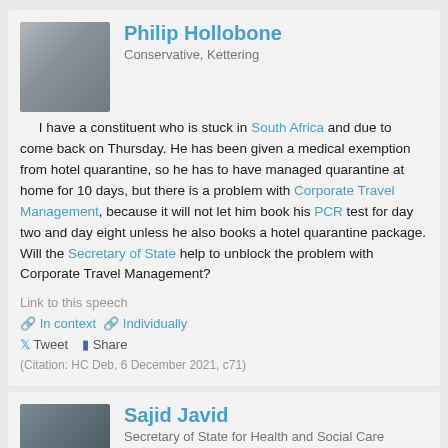Philip Hollobone
Conservative, Kettering
I have a constituent who is stuck in South Africa and due to come back on Thursday. He has been given a medical exemption from hotel quarantine, so he has to have managed quarantine at home for 10 days, but there is a problem with Corporate Travel Management, because it will not let him book his PCR test for day two and day eight unless he also books a hotel quarantine package. Will the Secretary of State help to unblock the problem with Corporate Travel Management?
Link to this speech
In context  Individually
Tweet  Share
(Citation: HC Deb, 6 December 2021, c71)
Sajid Javid
Secretary of State for Health and Social Care